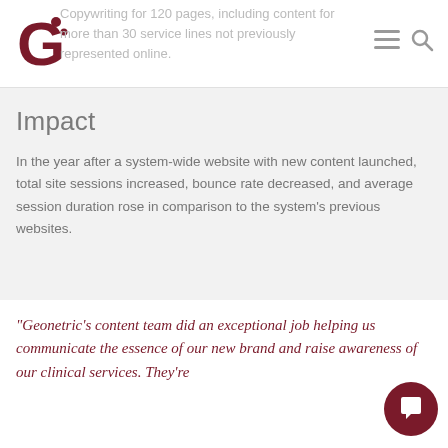Geonetric logo with navigation icons (hamburger menu and search)
Copywriting for 120 pages, including content for more than 30 service lines not previously represented online.
Impact
In the year after a system-wide website with new content launched, total site sessions increased, bounce rate decreased, and average session duration rose in comparison to the system's previous websites.
“Geonetric’s content team did an exceptional job helping us communicate the essence of our new brand and raise awareness of our clinical services. They’re